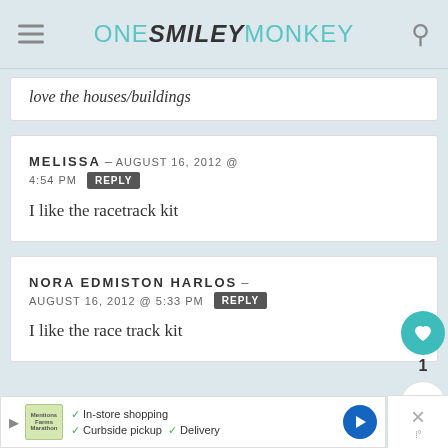ONE SMILEY MONKEY
love the houses/buildings
MELISSA – AUGUST 16, 2012 @ 4:54 PM  REPLY
I like the racetrack kit
NORA EDMISTON HARLOS – AUGUST 16, 2012 @ 5:33 PM  REPLY
I like the race track kit